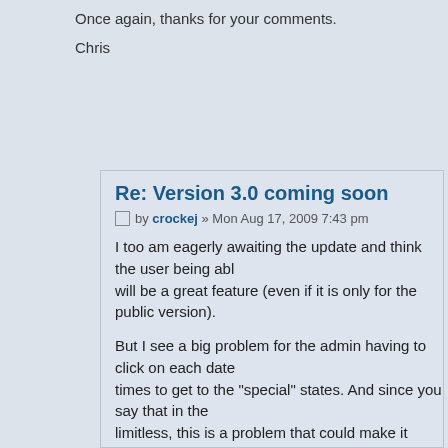Once again, thanks for your comments.
Chris
Re: Version 3.0 coming soon
by crockej » Mon Aug 17, 2009 7:43 pm
I too am eagerly awaiting the update and think the user being able will be a great feature (even if it is only for the public version).
But I see a big problem for the admin having to click on each date times to get to the "special" states. And since you say that in the limitless, this is a problem that could make it practically unusable.
Would it be possible to have a radio button of the different special could select the special state from the list and then click on each applied? This would streamline the process greatly and make it more default state when you click on a date would be "clear" (one of the you select a different "state", that becomes the new default. I think effective way to do complex scheduling.
This project has huge potential so keep up the good work!